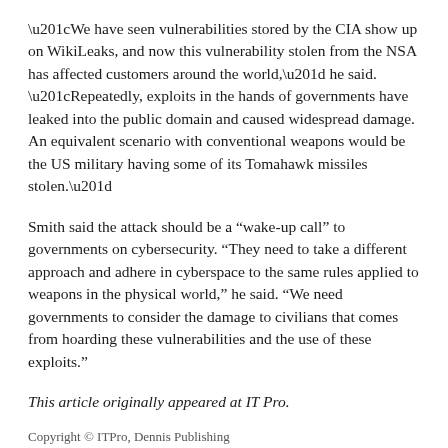“We have seen vulnerabilities stored by the CIA show up on WikiLeaks, and now this vulnerability stolen from the NSA has affected customers around the world,” he said. “Repeatedly, exploits in the hands of governments have leaked into the public domain and caused widespread damage. An equivalent scenario with conventional weapons would be the US military having some of its Tomahawk missiles stolen.”
Smith said the attack should be a “wake-up call” to governments on cybersecurity. “They need to take a different approach and adhere in cyberspace to the same rules applied to weapons in the physical world,” he said. “We need governments to consider the damage to civilians that comes from hoarding these vulnerabilities and the use of these exploits.”
This article originally appeared at IT Pro.
Copyright © ITPro, Dennis Publishing
All rights reserved. This material may not be published, broadcast, rewritten or redistributed in any form without prior authorisation.
Your use of this website constitutes acceptance of nextmedia’s Privacy Policy and Terms & Conditions.